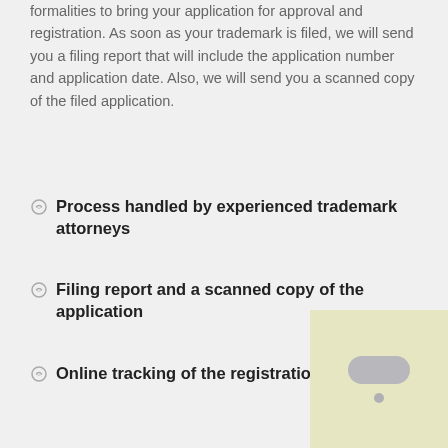formalities to bring your application for approval and registration. As soon as your trademark is filed, we will send you a filing report that will include the application number and application date. Also, we will send you a scanned copy of the filed application.
Process handled by experienced trademark attorneys
Filing report and a scanned copy of the application
Online tracking of the registration process
>> Prices
[Figure (other): Small decorative image box in bottom right corner with a pill/oval shape and dot]